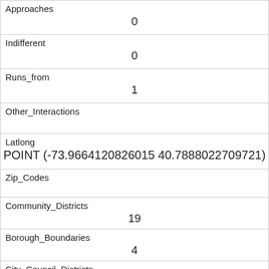| Approaches | 0 |
| Indifferent | 0 |
| Runs_from | 1 |
| Other_Interactions |  |
| Latlong | POINT (-73.9664120826015 40.7888022709721) |
| Zip_Codes |  |
| Community_Districts | 19 |
| Borough_Boundaries | 4 |
| City_Council_Districts | 19 |
| Police_Precincts | 13 |